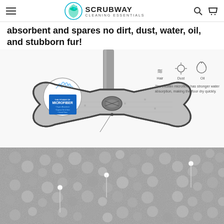SCRUBWAY CLEANING ESSENTIALS
absorbent and spares no dirt, dust, water, oil, and stubborn fur!
[Figure (photo): A microfiber mop pad shaped like a bone/bowtie, shown from above with a vertical pole handle. A close-up inset on the left shows water droplets and a blue label reading 'THE POWER OF MICROFIBER - Super Absorbent'. On the right, three icons (wavy lines for Hair, a sun/wind icon for Dust, and a droplet for Oil) with the caption: 'The thicken microfiber has stronger water absorption, making the floor dry quickly.']
[Figure (photo): Close-up texture shot of grey microfiber material with three small dot annotation markers visible on the surface.]